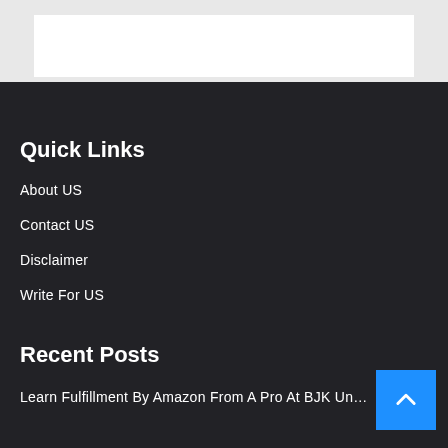[Figure (other): White rectangle box on light grey background at top of page]
Quick Links
About US
Contact US
Disclaimer
Write For US
Recent Posts
Learn Fulfillment By Amazon From A Pro At BJK Un…